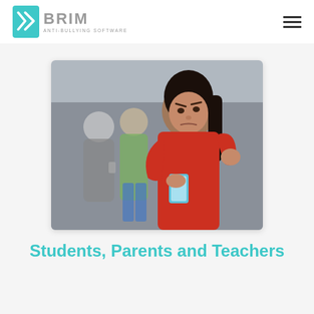BRIM ANTI-BULLYING SOFTWARE
[Figure (photo): A distressed teenage girl in a red sweater looking at her phone, with two other teenagers in the blurred background, one holding a phone. The scene depicts cyberbullying or social exclusion.]
Students, Parents and Teachers